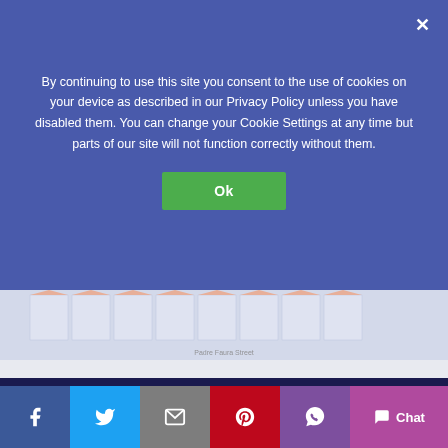By continuing to use this site you consent to the use of cookies on your device as described in our Privacy Policy unless you have disabled them. You can change your Cookie Settings at any time but parts of our site will not function correctly without them.
[Figure (screenshot): Partial view of a site plan / floor plan showing building units labeled UNIT 23 through UNIT 34 with colored rooflines, along a street labeled 'Padre Faura Street']
Back to Top ↑
[Figure (infographic): Social sharing bar with Facebook, Twitter, Email, Pinterest, Viber icons and a Chat button]